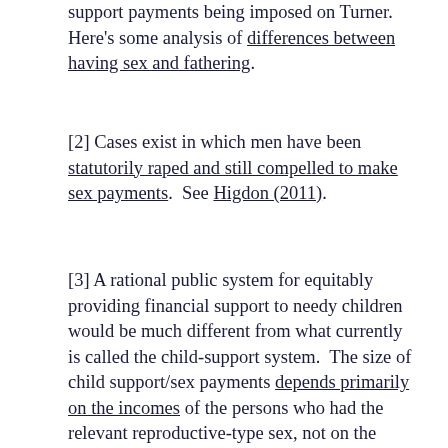support payments being imposed on Turner.  Here's some analysis of differences between having sex and fathering.
[2] Cases exist in which men have been statutorily raped and still compelled to make sex payments.  See Higdon (2011).
[3] A rational public system for equitably providing financial support to needy children would be much different from what currently is called the child-support system.  The size of child support/sex payments depends primarily on the incomes of the persons who had the relevant reproductive-type sex, not on the child's needs or needs for funding a system to provide equitable support for needy children. The recipient of the payments has no legal obligation to spend the payment on a child, or a needy child.  No accounting for the spending of the